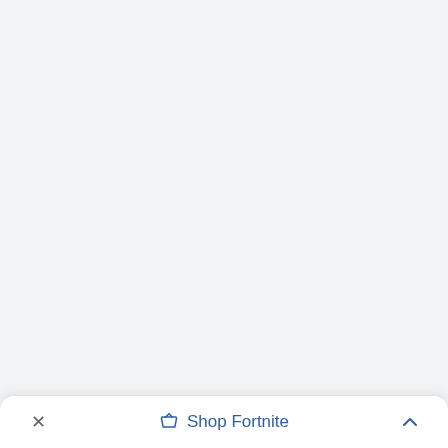[Figure (screenshot): Gray empty background area taking up most of the screen]
× Shop Fortnite ∧